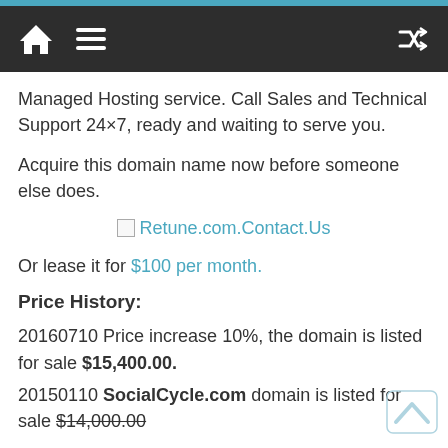Navigation bar with home icon, menu icon, and shuffle icon
Managed Hosting service. Call Sales and Technical Support 24×7, ready and waiting to serve you.
Acquire this domain name now before someone else does.
[Figure (other): Broken image link followed by text link: Retune.com.Contact.Us]
Or lease it for $100 per month.
Price History:
20160710 Price increase 10%, the domain is listed for sale $15,400.00.
20150110 SocialCycle.com domain is listed for sale $14,000.00
Use the navigation pages links below to see other domain assets available for sale.